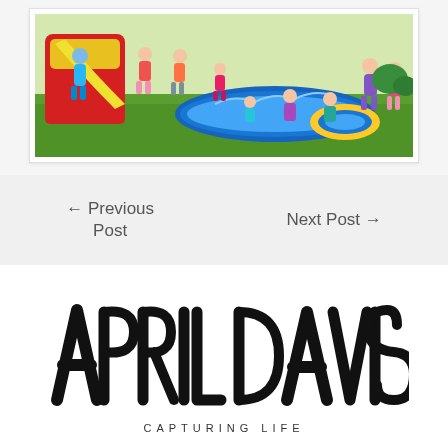[Figure (photo): Children playing on an inflatable water slide and splash pool on a lawn in summer. The inflatable is red, yellow and blue.]
← Previous Post
Next Post →
[Figure (logo): April Davis Capturing Life logo in a hand-lettered brush script style]